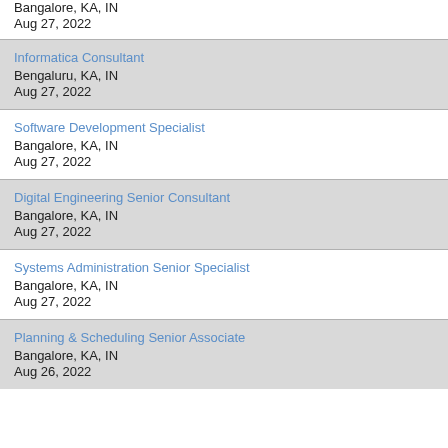Bangalore, KA, IN
Aug 27, 2022
Informatica Consultant
Bengaluru, KA, IN
Aug 27, 2022
Software Development Specialist
Bangalore, KA, IN
Aug 27, 2022
Digital Engineering Senior Consultant
Bangalore, KA, IN
Aug 27, 2022
Systems Administration Senior Specialist
Bangalore, KA, IN
Aug 27, 2022
Planning & Scheduling Senior Associate
Bangalore, KA, IN
Aug 26, 2022